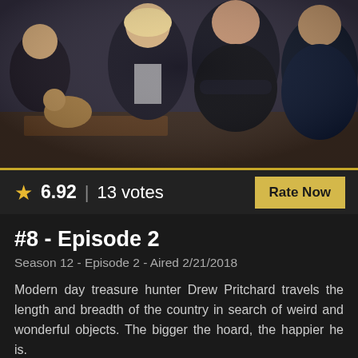[Figure (photo): Group photo of several people including a dog, posed together indoors wearing dark jackets]
★ 6.92 | 13 votes
Rate Now
#8 - Episode 2
Season 12 - Episode 2 - Aired 2/21/2018
Modern day treasure hunter Drew Pritchard travels the length and breadth of the country in search of weird and wonderful objects. The bigger the hoard, the happier he is.